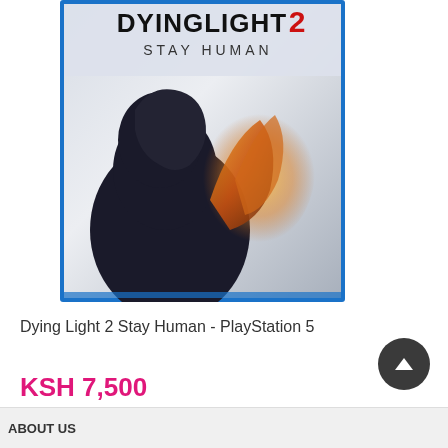[Figure (photo): Dying Light 2 Stay Human PlayStation 5 game cover art showing a man's silhouette profile against a bright explosion/light background with the game title at top. Blue border around the case.]
Dying Light 2 Stay Human - PlayStation 5
KSH 7,500
★★★★★ (empty stars rating)
ABOUT US